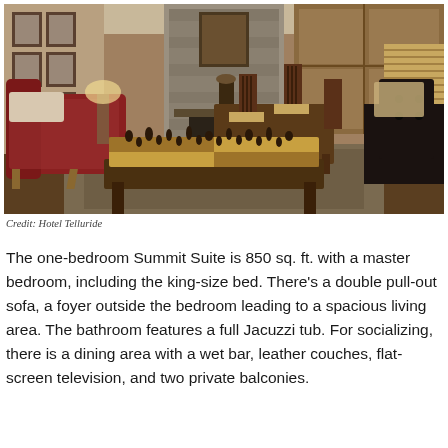[Figure (photo): Interior photo of a hotel suite living area with a chess set on a coffee table in the foreground, red chaise lounge chair on the left, leather armchair on the right, wood dining table and chairs in the background, stone fireplace, wood cabinetry, and warm lighting.]
Credit: Hotel Telluride
The one-bedroom Summit Suite is 850 sq. ft. with a master bedroom, including the king-size bed. There's a double pull-out sofa, a foyer outside the bedroom leading to a spacious living area. The bathroom features a full Jacuzzi tub. For socializing, there is a dining area with a wet bar, leather couches, flat-screen television, and two private balconies.